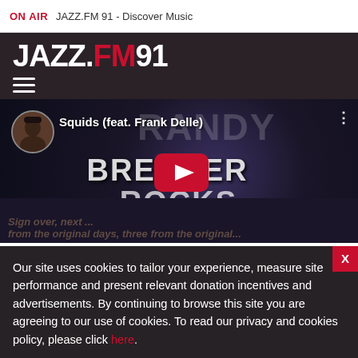ON AIR  JAZZ.FM 91 - Discover Music
[Figure (logo): JAZZ.FM91 logo in white and red on dark background with hamburger menu icon]
[Figure (screenshot): YouTube video thumbnail showing 'Squids (feat. Frank Delle)' with RANDY BRECKER ROCKS text overlay, avatar image of artist, play button, and three-dot menu]
Our site uses cookies to tailor your experience, measure site performance and present relevant donation incentives and advertisements. By continuing to browse this site you are agreeing to our use of cookies. To read our privacy and cookies policy, please click here.